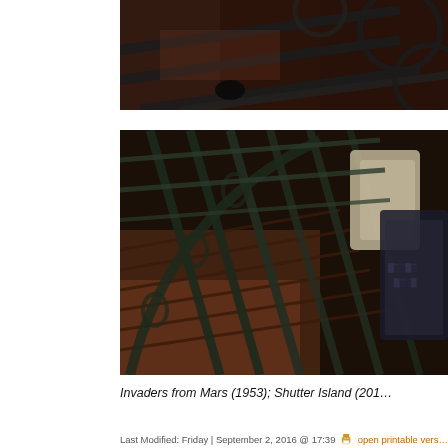[Figure (photo): Cropped dark photo showing architectural ironwork/railing with curved metal bars against a reddish-brown background, viewed from below]
[Figure (photo): Photo of a spiral staircase with ornate wrought iron railing viewed from below/side angle, showing brick steps and a figure in white at upper right]
Invaders from Mars (1953); Shutter Island (2010)
Last Modified: Friday | September 2, 2016 @ 17:39   open printable vers...